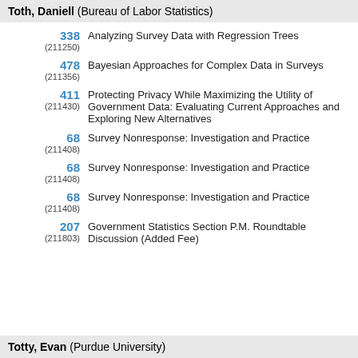Toth, Daniell (Bureau of Labor Statistics)
338 (211250) Analyzing Survey Data with Regression Trees
478 (211356) Bayesian Approaches for Complex Data in Surveys
411 (211430) Protecting Privacy While Maximizing the Utility of Government Data: Evaluating Current Approaches and Exploring New Alternatives
68 (211408) Survey Nonresponse: Investigation and Practice
68 (211408) Survey Nonresponse: Investigation and Practice
68 (211408) Survey Nonresponse: Investigation and Practice
207 (211803) Government Statistics Section P.M. Roundtable Discussion (Added Fee)
Totty, Evan (Purdue University)